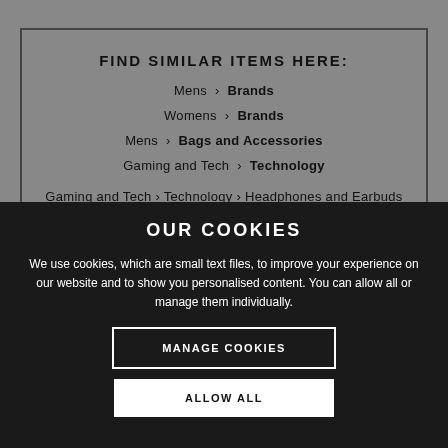FIND SIMILAR ITEMS HERE:
Mens > Brands
Womens > Brands
Mens > Bags and Accessories
Gaming and Tech > Technology
Gaming and Tech > Technology > Headphones and Earbuds
OUR COOKIES
We use cookies, which are small text files, to improve your experience on our website and to show you personalised content. You can allow all or manage them individually.
MANAGE COOKIES
ALLOW ALL